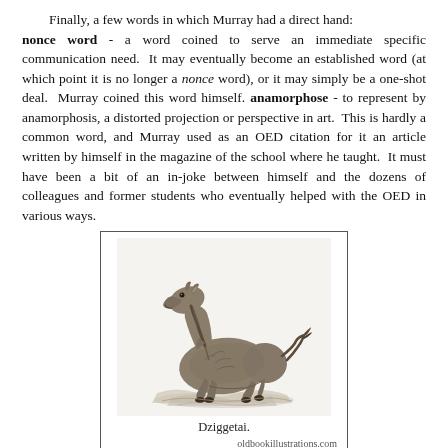Finally, a few words in which Murray had a direct hand: nonce word - a word coined to serve an immediate specific communication need.  It may eventually become an established word (at which point it is no longer a nonce word), or it may simply be a one-shot deal.  Murray coined this word himself. anamorphose - to represent by anamorphosis, a distorted projection or perspective in art.  This is hardly a common word, and Murray used as an OED citation for it an article written by himself in the magazine of the school where he taught.  It must have been a bit of an in-joke between himself and the dozens of colleagues and former students who eventually helped with the OED in various ways.
[Figure (illustration): A black and white engraving of a Dziggetai (wild ass), shown in a running or trotting pose with head raised, on a simple ground. Caption reads 'Dziggetai.' with source 'oldbookillustrations.com'.]